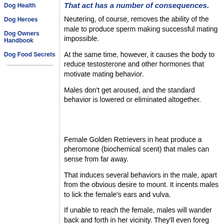Dog Health
Dog Heroes
Dog Owners Handbook
Dog Food Secrets
That act has a number of consequences.
Neutering, of course, removes the ability of the male to produce sperm making successful mating impossible.
At the same time, however, it causes the body to reduce testosterone and other hormones that motivate mating behavior.
Males don't get aroused, and the standard behavior is lowered or eliminated altogether.
Female Golden Retrievers in heat produce a pheromone (biochemical scent) that males can sense from far away.
That induces several behaviors in the male, apart from the obvious desire to mount. It incents males to lick the female's ears and vulva.
If unable to reach the female, males will wander back and forth in her vicinity. They'll even foreg